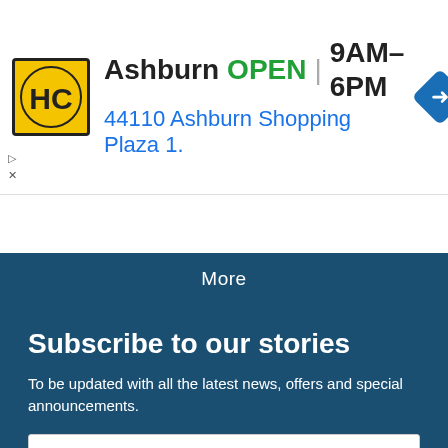[Figure (screenshot): Advertisement banner for Hairclub (HC) showing logo, Ashburn location OPEN 9AM-6PM, address 44110 Ashburn Shopping Plaza 1., and a blue navigation arrow icon]
[Figure (screenshot): Cookie consent bar with Accept and Privacy policy buttons, and a chevron/collapse icon on the left]
More
Subscribe to our stories
To be updated with all the latest news, offers and special announcements.
Email
SUBSCRIBE